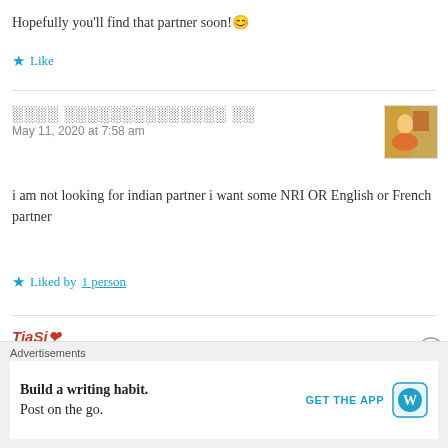Hopefully you'll find that partner soon! 😊
★ Like
░░░░ ░░░░░░░░░░░░░░ ░░
May 11, 2020 at 7:58 am
i am not looking for indian partner i want some NRI OR English or French partner
★ Liked by 1 person
Advertisements
Build a writing habit. Post on the go.
GET THE APP